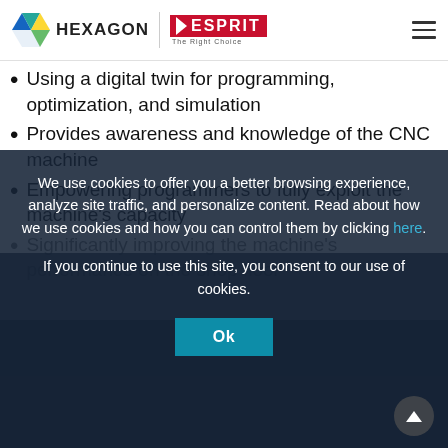Hexagon | ESPRIT — The Right Choice
Using a digital twin for programming, optimization, and simulation
Provides awareness and knowledge of the CNC machine
Empowering programmers to fully exploit the machine's capacity
Significantly improving the machine's performance on the shop floor
We use cookies to offer you a better browsing experience, analyze site traffic, and personalize content. Read about how we use cookies and how you can control them by clicking here.

If you continue to use this site, you consent to our use of cookies.

Ok